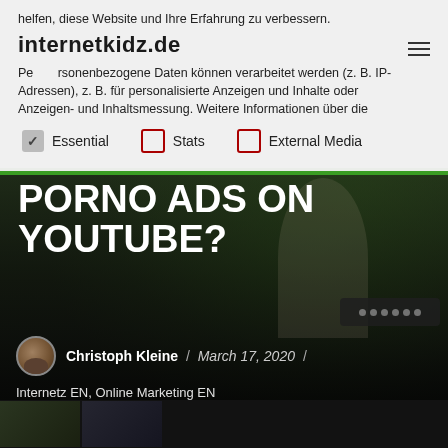helfen, diese Website und Ihre Erfahrung zu verbessern. Personenbezogene Daten können verarbeitet werden (z. B. IP-Adressen), z. B. für personalisierte Anzeigen und Inhalte oder Anzeigen- und Inhaltsmessung. Weitere Informationen über die
internetkidz.de
Essential
Stats
External Media
PORNO ADS ON YOUTUBE?
Christoph Kleine / March 17, 2020 / Internetz EN, Online Marketing EN
[Figure (screenshot): Screenshot of a website with a dark background showing a YouTube video page]